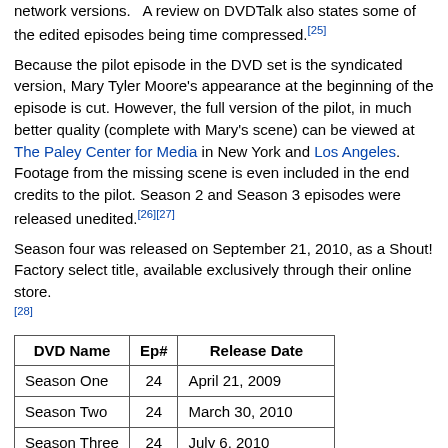network versions. A review on DVDTalk also states some of the edited episodes being time compressed.[25]
Because the pilot episode in the DVD set is the syndicated version, Mary Tyler Moore's appearance at the beginning of the episode is cut. However, the full version of the pilot, in much better quality (complete with Mary's scene) can be viewed at The Paley Center for Media in New York and Los Angeles. Footage from the missing scene is even included in the end credits to the pilot. Season 2 and Season 3 episodes were released unedited.[26][27]
Season four was released on September 21, 2010, as a Shout! Factory select title, available exclusively through their online store.[28]
| DVD Name | Ep# | Release Date |
| --- | --- | --- |
| Season One | 24 | April 21, 2009 |
| Season Two | 24 | March 30, 2010 |
| Season Three | 24 | July 6, 2010 |
| Season Four♦ | 24 | September 21, 2010 |
| Season Five | 13 | Not yet released |
♦—Shout! Factory select title, sold exclusively through Shout's